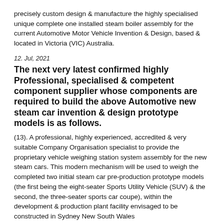precisely custom design & manufacture the highly specialised unique complete one installed steam boiler assembly for the current Automotive Motor Vehicle Invention & Design, based & located in Victoria (VIC) Australia.
12. Jul, 2021
The next very latest confirmed highly Professional, specialised & competent component supplier whose components are required to build the above Automotive new steam car invention & design prototype models is as follows.
(13). A professional, highly experienced, accredited & very suitable Company Organisation specialist to provide the proprietary vehicle weighing station system assembly for the new steam cars. This modern mechanism will be used to weigh the completed two initial steam car pre-production prototype models (the first being the eight-seater Sports Utility Vehicle (SUV) & the second, the three-seater sports car coupe), within the development & production plant facility envisaged to be constructed in Sydney New South Wales